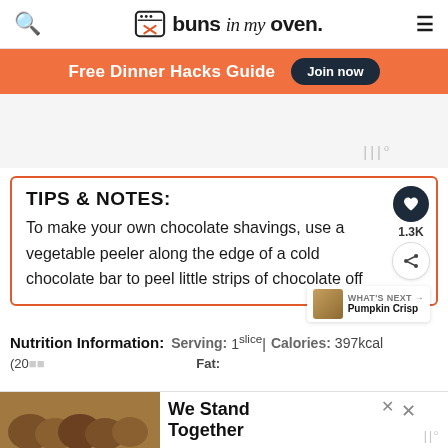buns in my oven.
Free Dinner Hacks Guide  Join now
[Figure (other): Advertisement placeholder area with Mediavine watermark]
TIPS & NOTES:
To make your own chocolate shavings, use a vegetable peeler along the edge of a cold chocolate bar to peel little strips of chocolate off
Nutrition Information: Serving: 1slice| Calories: 397kcal
[Figure (photo): Bottom advertisement banner showing group of people with 'We Stand Together' text]